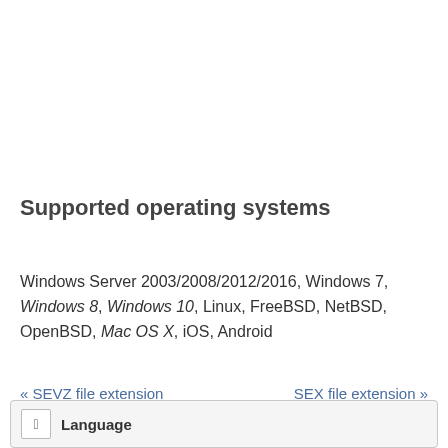Supported operating systems
Windows Server 2003/2008/2012/2016, Windows 7, Windows 8, Windows 10, Linux, FreeBSD, NetBSD, OpenBSD, Mac OS X, iOS, Android
« SEVZ file extension   SEX file extension »
Language